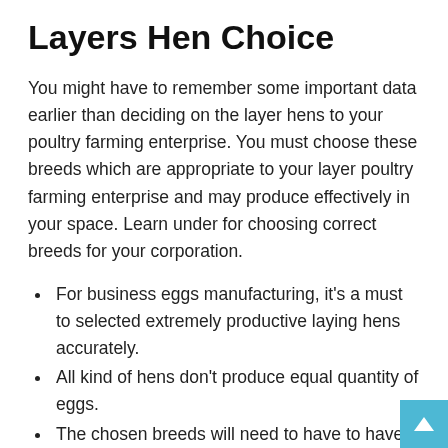Layers Hen Choice
You might have to remember some important data earlier than deciding on the layer hens to your poultry farming enterprise. You must choose these breeds which are appropriate to your layer poultry farming enterprise and may produce effectively in your space. Learn under for choosing correct breeds for your corporation.
For business eggs manufacturing, it's a must to selected extremely productive laying hens accurately.
All kind of hens don't produce equal quantity of eggs.
The chosen breeds will need to have to have good manufacturing functionality.
In case your chosen breed comprise the specified attribute and have a repute for egg manufacturing, then that breed is appropriate for your corporation.